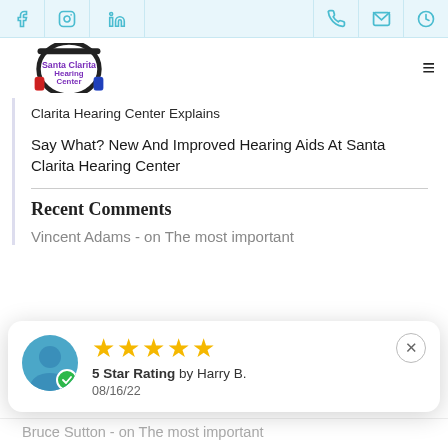Facebook | Instagram | LinkedIn | Phone | Email | Hours
[Figure (logo): Santa Clarita Hearing Center logo with headphones]
Clarita Hearing Center Explains
Say What? New And Improved Hearing Aids At Santa Clarita Hearing Center
Recent Comments
Vincent Adams - on The most important
[Figure (other): Review popup showing 5 star rating by Harry B. dated 08/16/22 with avatar icon]
Bruce Sutton - on The most important